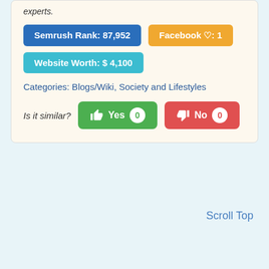experts.
Semrush Rank: 87,952
Facebook ♡: 1
Website Worth: $ 4,100
Categories: Blogs/Wiki, Society and Lifestyles
Is it similar?  👍 Yes  0    👎 No  0
Scroll Top